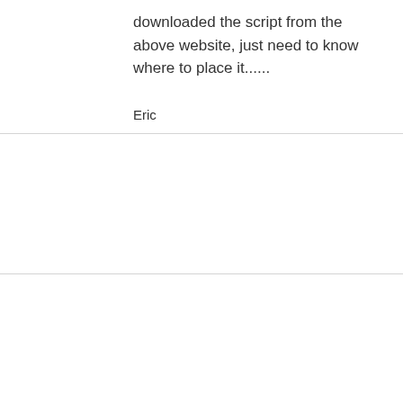downloaded the script from the above website, just need to know where to place it......
Eric
Eric 3764 days ago
Anybody???
ihayredinov 3764 days ago
Great script. I will study it closer and integrate with hypeWall if it's suitable.